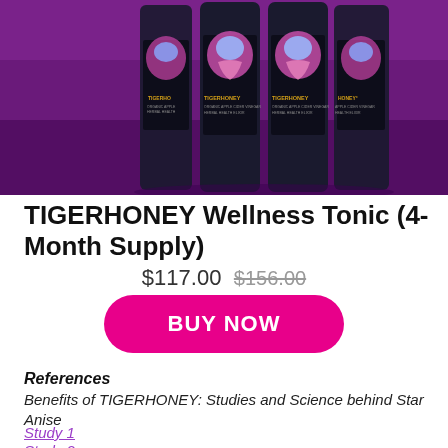[Figure (photo): Four TIGERHONEY product bottles displayed on a purple/magenta background. The bottles are dark with colorful tiger face artwork and gold text reading TIGERHONEY, ORGANIC APPLE CIDER VINEGAR, HERBAL HEALTH ELIXIR.]
TIGERHONEY Wellness Tonic (4-Month Supply)
$117.00  $156.00
BUY NOW
References
Benefits of TIGERHONEY: Studies and Science behind Star Anise
Study 1
Study 2